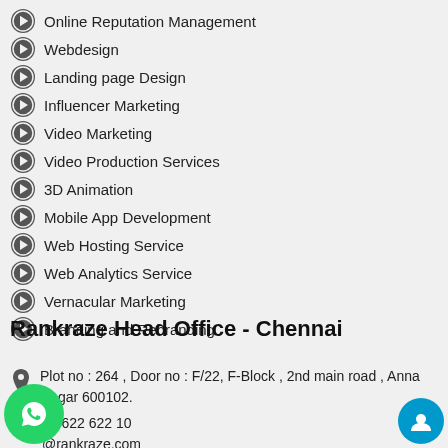Online Reputation Management
Webdesign
Landing page Design
Influencer Marketing
Video Marketing
Video Production Services
3D Animation
Mobile App Development
Web Hosting Service
Web Analytics Service
Vernacular Marketing
Branding and Rebranding
Rankraze Head Office - Chennai
Plot no : 264 , Door no : F/22, F-Block , 2nd main road , Anna Nagar 600102.
09 622 622 10
@rankraze.com